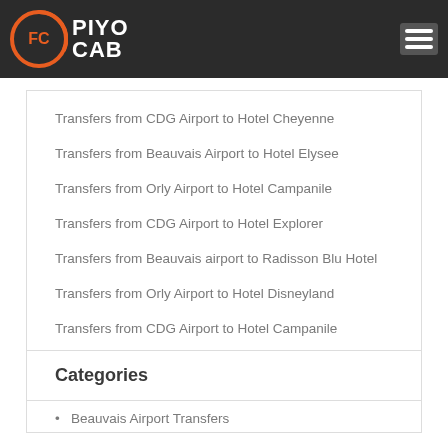PIYO CAB
Transfers from CDG Airport to Hotel Cheyenne
Transfers from Beauvais Airport to Hotel Elysee
Transfers from Orly Airport to Hotel Campanile
Transfers from CDG Airport to Hotel Explorer
Transfers from Beauvais airport to Radisson Blu Hotel
Transfers from Orly Airport to Hotel Disneyland
Transfers from CDG Airport to Hotel Campanile
Transfers from Beauvais Airport to Hotel Cheyenne
Categories
Beauvais Airport Transfers